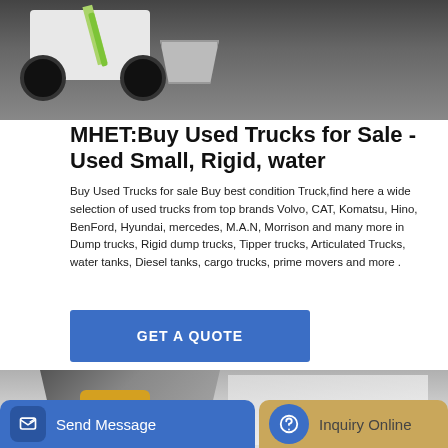[Figure (photo): White and green front loader/wheel loader machine with black tires and a bucket attachment, photographed on a dark gravel surface.]
MHET:Buy Used Trucks for Sale - Used Small, Rigid, water
Buy Used Trucks for sale Buy best condition Truck,find here a wide selection of used trucks from top brands Volvo, CAT, Komatsu, Hino, BenFord, Hyundai, mercedes, M.A.N, Morrison and many more in Dump trucks, Rigid dump trucks, Tipper trucks, Articulated Trucks, water tanks, Diesel tanks, cargo trucks, prime movers and more .
GET A QUOTE
[Figure (photo): Industrial equipment photo showing scaffolding structure with yellow component, partially visible at the bottom of the page.]
Send Message
Inquiry Online